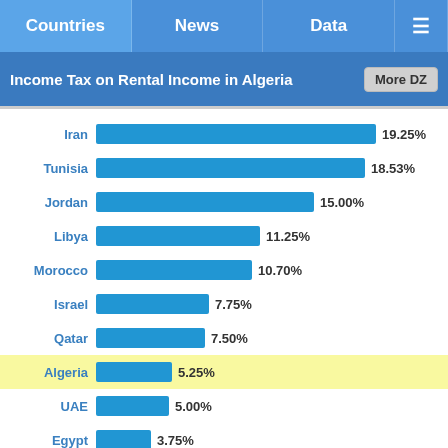Countries | News | Data | ≡
Income Tax on Rental Income in Algeria
[Figure (bar-chart): Income Tax on Rental Income in Algeria]